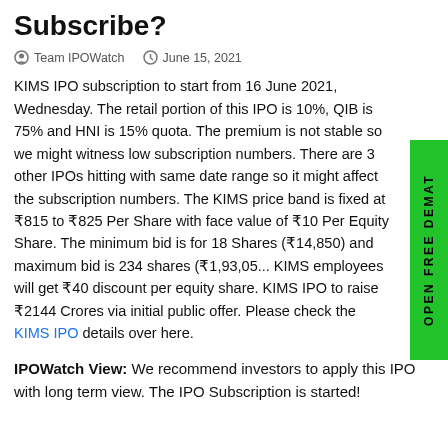Subscribe?
Team IPOWatch   June 15, 2021
KIMS IPO subscription to start from 16 June 2021, Wednesday. The retail portion of this IPO is 10%, QIB is 75% and HNI is 15% quota. The premium is not stable so we might witness low subscription numbers. There are 3 other IPOs hitting with same date range so it might affect the subscription numbers. The KIMS price band is fixed at ₹815 to ₹825 Per Share with face value of ₹10 Per Equity Share. The minimum bid is for 18 Shares (₹14,850) and maximum bid is 234 shares (₹1,93,05... KIMS employees will get ₹40 discount per equity share. KIMS IPO to raise ₹2144 Crores via initial public offer. Please check the KIMS IPO details over here.
IPOWatch View: We recommend investors to apply this IPO with long term view. The IPO Subscription is started!